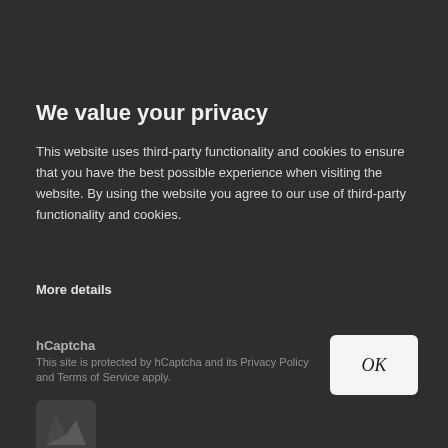We value your privacy
This website uses third-party functionality and cookies to ensure that you have the best possible experience when visiting the website. By using the website you agree to our use of third-party functionality and cookies.
More details
hCaptcha
This site is protected by hCaptcha and its Privacy Policy and Terms of Service apply.
[Figure (logo): hCaptcha logo icon]
hCaptcha
OK